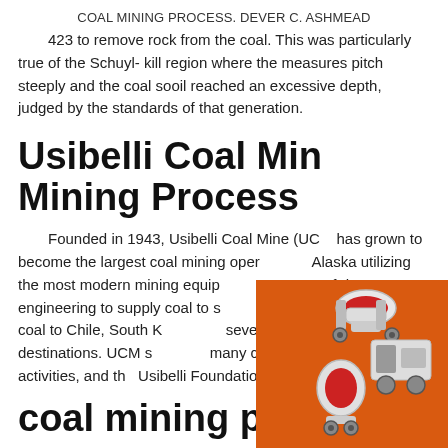COAL MINING PROCESS. DEVER C. ASHMEAD
423 to remove rock from the coal. This was particularly true of the Schuyl- kill region where the measures pitch steeply and the coal sooil reached an excessive depth, judged by the standards of that generation.
Usibelli Coal Mine Mining Process
Founded in 1943, Usibelli Coal Mine (UCM has grown to become the largest coal mining operation in Alaska utilizing the most modern mining equipment and state-of-the-art engineering to supply coal to several power plants and export coal to Chile, South Korea and several other Pacific Rim destinations. UCM sponsors many community events and activities, and the Usibelli Foundation ...
[Figure (infographic): Advertisement overlay with orange background showing coal mining equipment images, yellow 'Enjoy 3% discount' banner, yellow 'Click to Chat' button, grey Enquiry section, and contact limingjlmofen@sina.com]
coal mining process